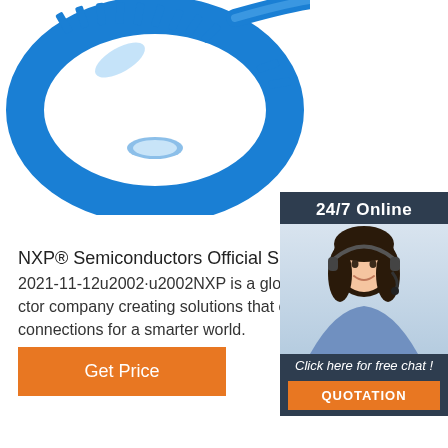[Figure (photo): Blue plastic gear/ring product photo on white background]
[Figure (infographic): 24/7 Online chat panel with agent photo, 'Click here for free chat!' text and orange QUOTATION button]
NXP® Semiconductors Official Site
2021-11-12u2002·u2002NXP is a global semiconductor company creating solutions that enable secure connections for a smarter world.
[Figure (other): Orange Get Price button]
[Figure (logo): TOP logo in orange with dots above the T]